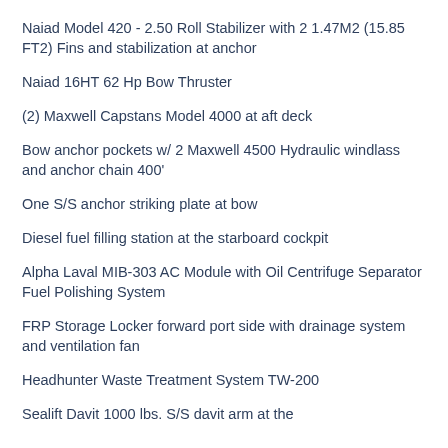Naiad Model 420 - 2.50 Roll Stabilizer with 2 1.47M2 (15.85 FT2) Fins and stabilization at anchor
Naiad 16HT 62 Hp Bow Thruster
(2) Maxwell Capstans Model 4000 at aft deck
Bow anchor pockets w/ 2 Maxwell 4500 Hydraulic windlass and anchor chain 400'
One S/S anchor striking plate at bow
Diesel fuel filling station at the starboard cockpit
Alpha Laval MIB-303 AC Module with Oil Centrifuge Separator Fuel Polishing System
FRP Storage Locker forward port side with drainage system and ventilation fan
Headhunter Waste Treatment System TW-200
Sealift Davit 1000 lbs. S/S davit arm at the...